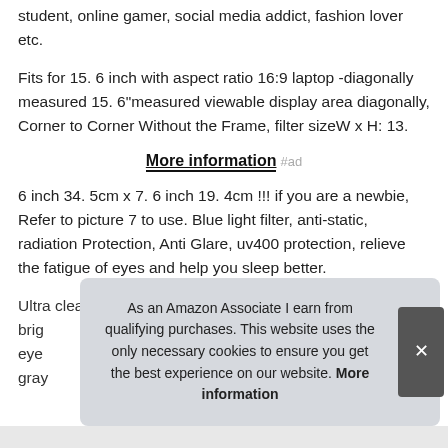student, online gamer, social media addict, fashion lover etc.
Fits for 15. 6 inch with aspect ratio 16:9 laptop -diagonally measured 15. 6"measured viewable display area diagonally, Corner to Corner Without the Frame, filter sizeW x H: 13.
More information #ad
6 inch 34. 5cm x 7. 6 inch 19. 4cm !!! if you are a newbie, Refer to picture 7 to use. Blue light filter, anti-static, radiation Protection, Anti Glare, uv400 protection, relieve the fatigue of eyes and help you sleep better.
Ultra clear 95% transparency not reduce the screen's brig... eye... gray...
As an Amazon Associate I earn from qualifying purchases. This website uses the only necessary cookies to ensure you get the best experience on our website. More information